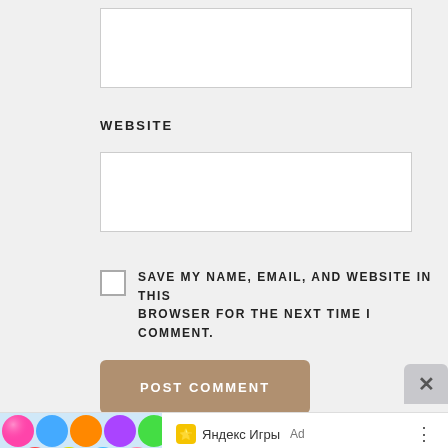(input field — partially visible at top)
WEBSITE
(website input field)
SAVE MY NAME, EMAIL, AND WEBSITE IN THIS BROWSER FOR THE NEXT TIME I COMMENT.
POST COMMENT
[Figure (screenshot): Яндекс Игры Ad banner for Bubble Hit game with colorful bubble balls image on the left]